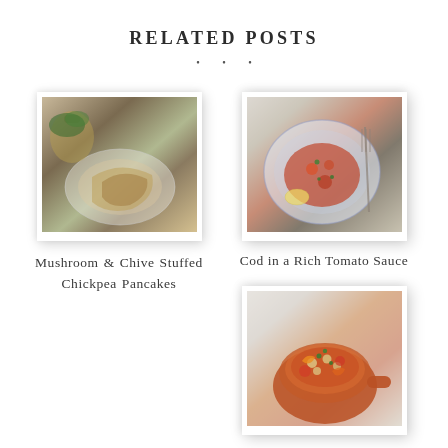RELATED POSTS
[Figure (photo): Food photo: Mushroom & Chive Stuffed Chickpea Pancakes on a blue and white plate]
Mushroom & Chive Stuffed Chickpea Pancakes
[Figure (photo): Food photo: Cod in a Rich Tomato Sauce on a decorative plate with a fork]
Cod in a Rich Tomato Sauce
[Figure (photo): Food photo: Chunky Vegetable & Chickpea stew in a terracotta bowl]
Chunky Vegetable & Chickpea